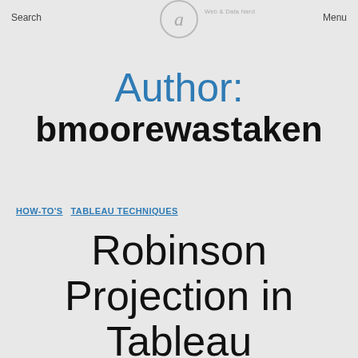Search   Menu
Author: bmoorewastaken
HOW-TO'S  TABLEAU TECHNIQUES
Robinson Projection in Tableau